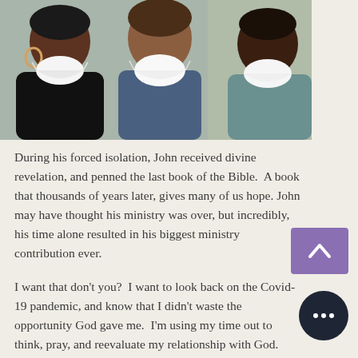[Figure (illustration): Illustration of three people wearing white face masks, shown from behind/side, with dark skin tones and brown hair, on a muted teal/grey background.]
During his forced isolation, John received divine revelation, and penned the last book of the Bible. A book that thousands of years later, gives many of us hope. John may have thought his ministry was over, but incredibly, his time alone resulted in his biggest ministry contribution ever.
I want that don't you? I want to look back on the Covid-19 pandemic, and know that I didn't waste the opportunity God gave me. I'm using my time out to think, pray, and reevaluate my relationship with God.